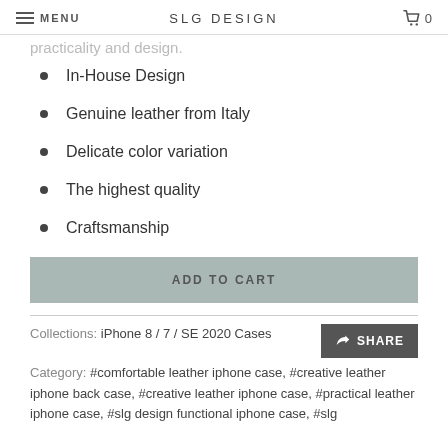MENU | SLG DESIGN | 0
practicality and design.
In-House Design
Genuine leather from Italy
Delicate color variation
The highest quality
Craftsmanship
ADD TO CART
Collections: iPhone 8 / 7 / SE 2020 Cases
Category: #comfortable leather iphone case, #creative leather iphone back case, #creative leather iphone case, #practical leather iphone case, #slg design functional iphone case, #slg